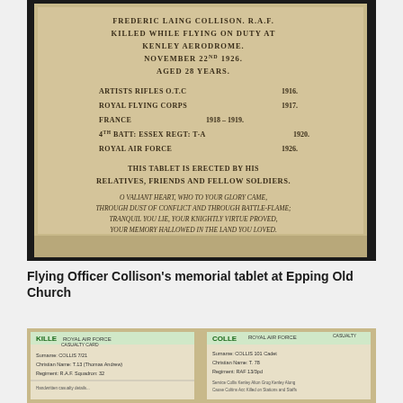[Figure (photo): Memorial tablet photo showing text: FREDERIC LAING COLLISON. R.A.F. KILLED WHILE FLYING ON DUTY AT KENLEY AERODROME. NOVEMBER 22ND 1926. AGED 28 YEARS. ARTISTS RIFLES O.T.C 1916. ROYAL FLYING CORPS 1917. FRANCE 1918-1919. 4TH BATT: ESSEX REGT: T.A 1920. ROYAL AIR FORCE 1926. THIS TABLET IS ERECTED BY HIS RELATIVES, FRIENDS AND FELLOW SOLDIERS. O VALIANT HEART, WHO TO YOUR GLORY CAME, THROUGH DUST OF CONFLICT AND THROUGH BATTLE-FLAME; TRANQUIL YOU LIE, YOUR KNIGHTLY VIRTUE PROVED, YOUR MEMORY HALLOWED IN THE LAND YOU LOVED.]
Flying Officer Collison's memorial tablet at Epping Old Church
[Figure (photo): Two Royal Air Force casualty cards for Collis/Collison showing handwritten details including service numbers, dates, and casualty information.]